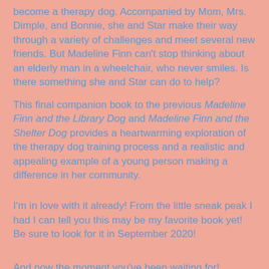become a therapy dog. Accompanied by Mom, Mrs. Dimple, and Bonnie, she and Star make their way through a variety of challenges and meet several new friends. But Madeline Finn can't stop thinking about an elderly man in a wheelchair, who never smiles. Is there something she and Star can do to help?
This final companion book to the previous Madeline Finn and the Library Dog and Madeline Finn and the Shelter Dog provides a heartwarming exploration of the therapy dog training process and a realistic and appealing example of a young person making a difference in her community.
I'm in love with it already!  From the little sneak peak I had I can tell you this may be my favorite book yet!  Be sure to look for it in September 2020!
And now the moment you've been waiting for!  Introducing: